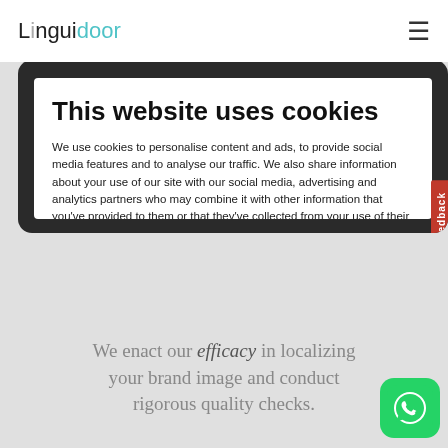Linguidoor
This website uses cookies
We use cookies to personalise content and ads, to provide social media features and to analyse our traffic. We also share information about your use of our site with our social media, advertising and analytics partners who may combine it with other information that you've provided to them or that they've collected from your use of their services.
Deny | Allow selection | Allow all
Necessary | Preferences | Statistics | Marketing | Show details
We enact our efficacy in localizing your brand image and conduct rigorous quality checks.